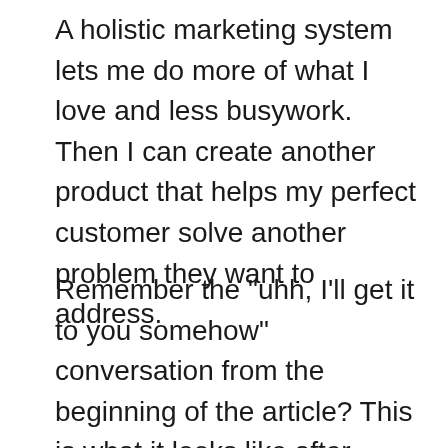A holistic marketing system lets me do more of what I love and less busywork. Then I can create another product that helps my perfect customer solve another problem they want to address.
Remember the "uhh, I'll get it to you somehow" conversation from the beginning of the article? This is what it looks like after implementing the four parts of a holistic marketing system— relationship research,